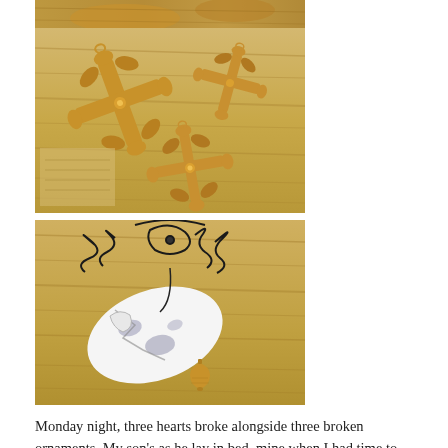[Figure (photo): Partial view of gold ornaments on a wooden surface (top crop)]
[Figure (photo): Three gold decorative cross/fleur-de-lis style Christmas ornaments lying on a wooden table surface]
[Figure (photo): A broken white Christmas ornament with black wire filigree holder on a wooden surface, with a small gold bell]
Monday night, three hearts broke alongside three broken ornaments. My son's as he lay in bed, mine when I had time to think, and God's. Oh, how His heart must have broken at the sight of...